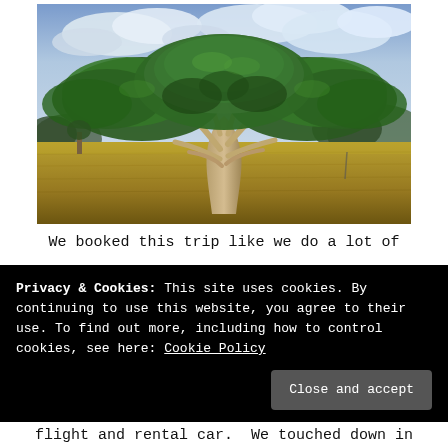[Figure (photo): A large tropical tree with a wide spreading canopy standing in a golden grass field under a partly cloudy sky. The tree has a pale thick trunk and dense green foliage spread broadly. Background shows more trees and hills.]
We booked this trip like we do a lot of
Privacy & Cookies: This site uses cookies. By continuing to use this website, you agree to their use. To find out more, including how to control cookies, see here: Cookie Policy

Close and accept
flight and rental car.  We touched down in